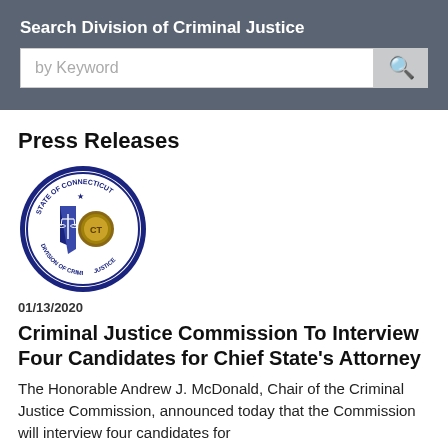Search Division of Criminal Justice
by Keyword
Press Releases
[Figure (logo): State of Connecticut Division of Criminal Justice circular seal with blue border, balance scales and badge in center]
01/13/2020
Criminal Justice Commission To Interview Four Candidates for Chief State's Attorney
The Honorable Andrew J. McDonald, Chair of the Criminal Justice Commission, announced today that the Commission will interview four candidates for